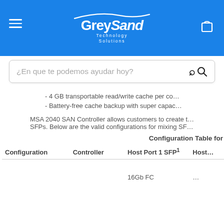GreySand Technology Solutions
¿En que te podemos ayudar hoy?
- 4 GB transportable read/write cache per co…
- Battery-free cache backup with super capac…
MSA 2040 SAN Controller allows customers to create t… SFPs. Below are the valid configurations for mixing SF…
Configuration Table for
| Configuration | Controller | Host Port 1 SFP¹ | Host… |
| --- | --- | --- | --- |
|  |  | 16Gb FC |  |